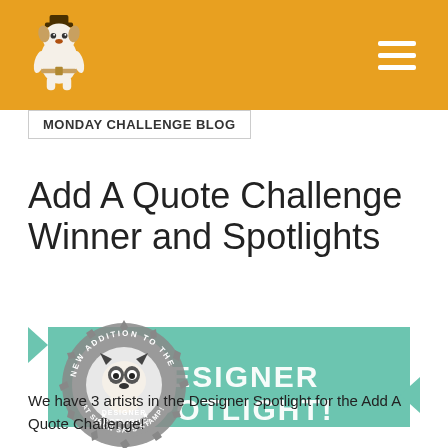MONDAY CHALLENGE BLOG
Add A Quote Challenge Winner and Spotlights
[Figure (illustration): Designer Spotlight badge with teal ribbon banner reading 'DESIGNER SPOTLIGHT!' and a circular stamp graphic with a Boston Terrier dog, text reading 'NEW ADDITION TO THE DESIGNER SPOTLIGHT AT SIMON SAYS STAMP!']
We have 3 artists in the Designer Spotlight for the Add A Quote Challenge!